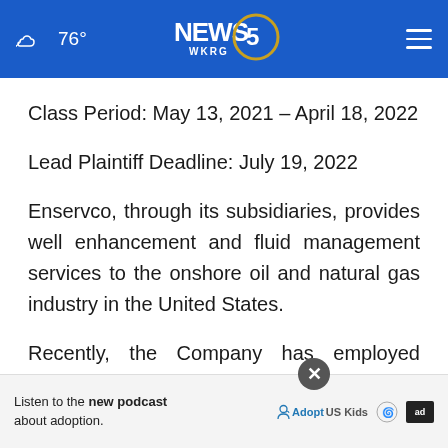76° NEWS 5 WKRG
Class Period: May 13, 2021 – April 18, 2022
Lead Plaintiff Deadline: July 19, 2022
Enservco, through its subsidiaries, provides well enhancement and fluid management services to the onshore oil and natural gas industry in the United States.
Recently, the Company has employed several tactics... en its balance sheets. For example, in August 2020,
[Figure (other): Advertisement overlay: Listen to the new podcast about adoption. AdoptUSKids logo and ad badge shown.]